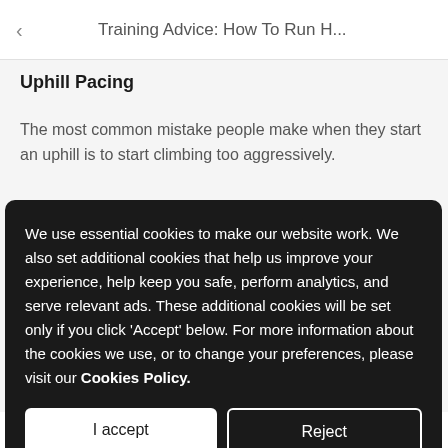< Training Advice: How To Run H...
Uphill Pacing
The most common mistake people make when they start an uphill is to start climbing too aggressively. Generally it is much better to start conservatively and
We use essential cookies to make our website work. We also set additional cookies that help us improve your experience, help keep you safe, perform analytics, and serve relevant ads. These additional cookies will be set only if you click ‘Accept’ below. For more information about the cookies we use, or to change your preferences, please visit our Cookies Policy.
I accept
Reject
of the hill it is also a powerful race strategy to try to